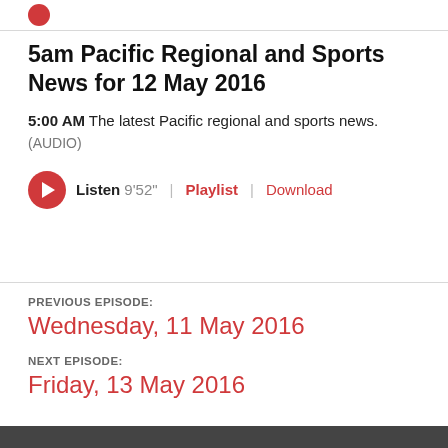[Figure (logo): Red circle logo in top-left corner]
5am Pacific Regional and Sports News for 12 May 2016
5:00 AM The latest Pacific regional and sports news. (AUDIO)
Listen 9'52" | Playlist | Download
PREVIOUS EPISODE:
Wednesday, 11 May 2016
NEXT EPISODE:
Friday, 13 May 2016